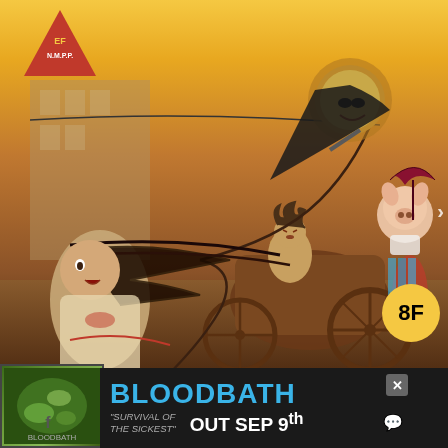[Figure (illustration): Vintage pulp comic book cover illustration showing a chaotic street scene: a frightened woman with long dark hair being pulled by a whip in the foreground, a man driving a horse-drawn carriage in the middle, a lion-headed figure in a black cape leaping overhead with a gun, and an anthropomorphic pig with an umbrella seated in the carriage. A red triangle badge with 'EF N.M.P.P.' text is in the top-left corner. A yellow circle price badge showing '8F' is in the bottom-right. Yellow and orange tones dominate the background with urban buildings visible.]
EF N.M.P.P.
8F
[Figure (illustration): Small advertisement thumbnail showing a green/organic textured background, appears to be an album or book cover.]
BLOODBATH
"SURVIVAL OF THE SICKEST"
OUT SEP 9th